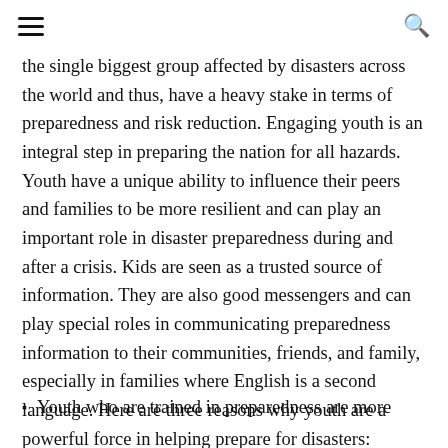≡  🔍
the single biggest group affected by disasters across the world and thus, have a heavy stake in terms of preparedness and risk reduction. Engaging youth is an integral step in preparing the nation for all hazards. Youth have a unique ability to influence their peers and families to be more resilient and can play an important role in disaster preparedness during and after a crisis. Kids are seen as a trusted source of information. They are also good messengers and can play special roles in communicating preparedness information to their communities, friends, and family, especially in families where English is a second language. Here are three reasons why youth are a powerful force in helping prepare for disasters:
Youth who are trained in preparedness are more